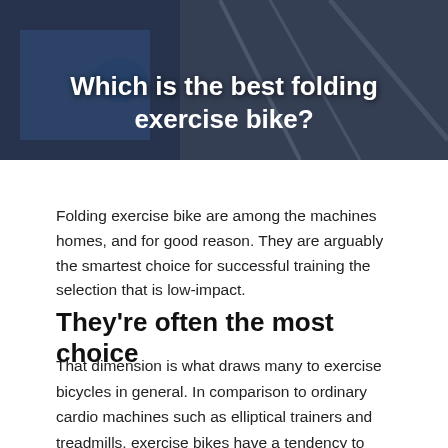[Figure (photo): Hero image showing a person exercising, overlaid with bold white text reading 'Which is the best folding exercise bike?' on a dark background.]
Which is the best folding exercise bike?
Folding exercise bike are among the machines homes, and for good reason. They are arguably the smartest choice for successful training the selection that is low-impact.
They're often the most choice
That dimension is what draws many to exercise bicycles in general. In comparison to ordinary cardio machines such as elliptical trainers and treadmills, exercise bikes have a tendency to take up space in your home fitness center.